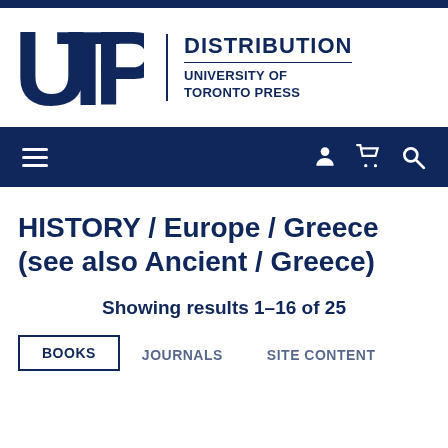[Figure (logo): UTP Distribution - University of Toronto Press logo with dark navy UTP letters and text DISTRIBUTION / UNIVERSITY OF TORONTO PRESS]
[Figure (screenshot): Dark navy navigation bar with hamburger menu icon on left and user, cart, search icons on right]
HISTORY / Europe / Greece (see also Ancient / Greece)
Showing results 1-16 of 25
BOOKS   JOURNALS   SITE CONTENT